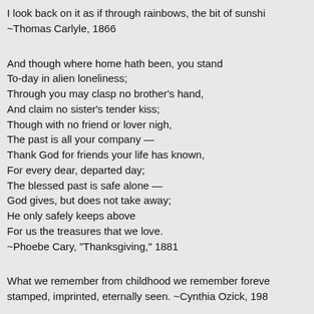I look back on it as if through rainbows, the bit of sunshine ~Thomas Carlyle, 1866
And though where home hath been, you stand
To-day in alien loneliness;
Through you may clasp no brother's hand,
And claim no sister's tender kiss;
Though with no friend or lover nigh,
The past is all your company —
Thank God for friends your life has known,
For every dear, departed day;
The blessed past is safe alone —
God gives, but does not take away;
He only safely keeps above
For us the treasures that we love.
~Phoebe Cary, "Thanksgiving," 1881
What we remember from childhood we remember forever stamped, imprinted, eternally seen. ~Cynthia Ozick, 198
"If you ask me," said Miss Rostead (though nobody had,
"I think that's about the most cheering account of a fur